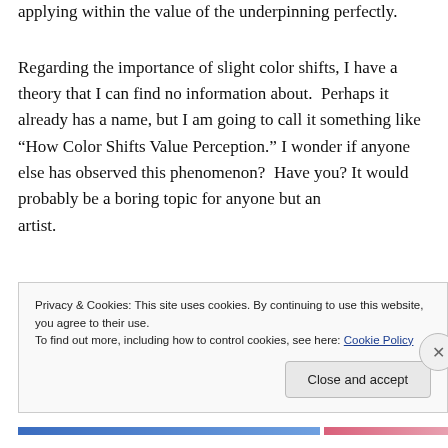applying within the value of the underpinning perfectly.
Regarding the importance of slight color shifts, I have a theory that I can find no information about.  Perhaps it already has a name, but I am going to call it something like “How Color Shifts Value Perception.” I wonder if anyone else has observed this phenomenon?  Have you? It would probably be a boring topic for anyone but an artist.
Privacy & Cookies: This site uses cookies. By continuing to use this website, you agree to their use.
To find out more, including how to control cookies, see here: Cookie Policy